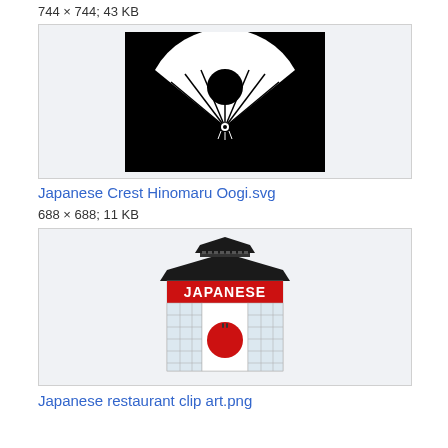744 × 744; 43 KB
[Figure (illustration): Japanese crest hinomaru oogi on black background — white fan shape with circle above it, on a black square]
Japanese Crest Hinomaru Oogi.svg
688 × 688; 11 KB
[Figure (illustration): Japanese restaurant clip art — pagoda-style building with black tiered roof, red banner reading JAPANESE, sliding glass door panels with a red circle (sun) in the center]
Japanese restaurant clip art.png